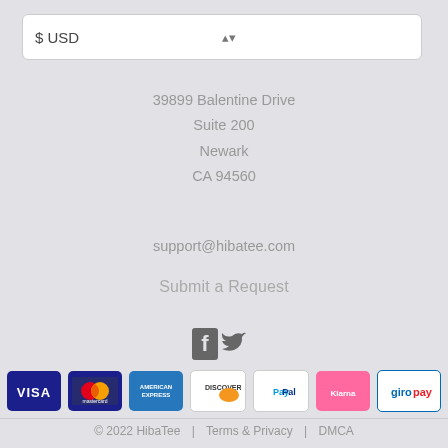$ USD
39899 Balentine Drive
Suite 200
Newark
CA 94560
support@hibatee.com
Submit a Request
[Figure (illustration): Social media icons: Facebook and Twitter]
[Figure (illustration): Payment method logos: VISA, Mastercard, American Express, Discover, PayPal, Klarna, Giropay]
© 2022 HibaTee   Terms & Privacy   DMCA